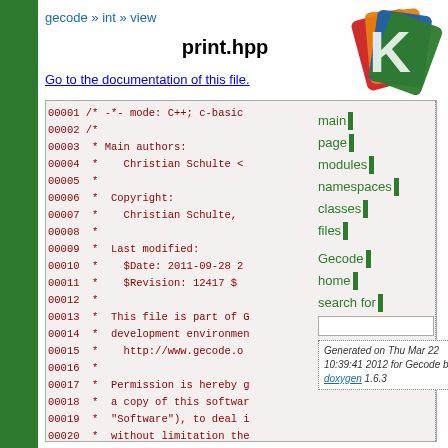gecode » int » view
print.hpp
Go to the documentation of this file.
[Figure (logo): Gecode logo with colored card-like shapes in red, orange, blue, green]
main page | modules | namespaces | classes | files | Gecode home | search for
00001 /* -*- mode: C++; c-basic
00002 /*
00003  * Main authors:
00004  *    Christian Schulte <
00005  *
00006  *  Copyright:
00007  *    Christian Schulte,
00008  *
00009  *  Last modified:
00010  *    $Date: 2011-09-28
00011  *    $Revision: 12417 $
00012  *
00013  *  This file is part of G
00014  *  development environmen
00015  *    http://www.gecode.o
00016  *
00017  *  Permission is hereby g
00018  *  a copy of this softwar
00019  *  "Software"), to deal i
00020  *  without limitation the
00021  *  distribute, sublicense
00022  *  permit persons to whom
Generated on Thu Mar 22 10:39:41 2012 for Gecode by doxygen 1.6.3